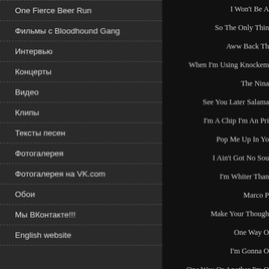One Fierce Beer Run
Фильмы с Bloodhound Gang
Интервью
Концерты
Видео
Клипы
Тексты песен
Фотогалерея
Фотогалерея на VK.com
Обои
Мы ВКонтакте!!!
English website
I Won't Be A...
So The Only Thin...
Aww Back Th...
When I'm Using Knockem...
The Nina...
See You Later Salama...
I'm A Chip I'm An Pri...
Pop Me Up In Yo...
I Ain't Got No Sou...
I'm Whiter Than...
Marco P...
Make Your Though...
One Way O...
I'm Gonna O...
One Way Or Another I'm O...
I'm A Gang...
Your Momma Gave M...